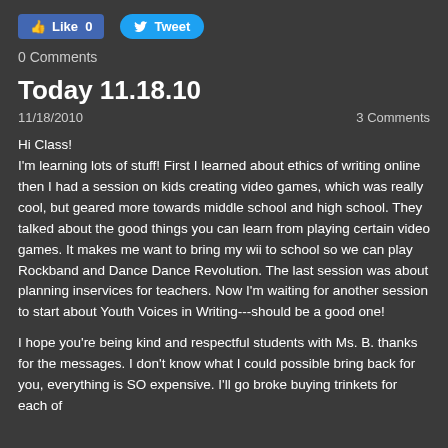[Figure (screenshot): Social media buttons: Facebook Like (0) and Twitter Tweet]
0 Comments
Today 11.18.10
11/18/2010    3 Comments
Hi Class!
I'm learning lots of stuff! First I learned about ethics of writing online then I had a session on kids creating video games, which was really cool, but geared more towards middle school and high school. They talked about the good things you can learn from playing certain video games. It makes me want to bring my wii to school so we can play Rockband and Dance Dance Revolution.  The last session was about planning inservices for teachers.  Now I'm waiting for another session to start about Youth Voices in Writing---should be a good one!

I hope you're being kind and respectful students with Ms. B. thanks for the messages. I don't know what I could possible bring back for you, everything is SO expensive. I'll go broke buying trinkets for each of